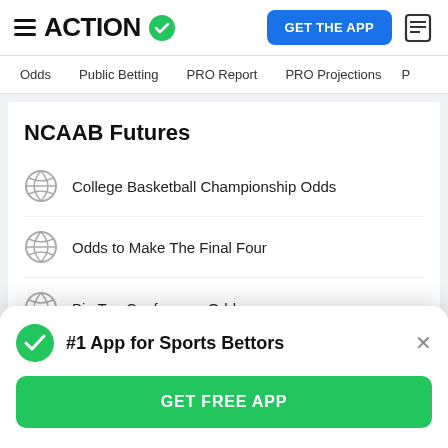ACTION (logo with green checkmark) — GET THE APP button
Odds | Public Betting | PRO Report | PRO Projections
NCAAB Futures
College Basketball Championship Odds
Odds to Make The Final Four
Big Ten Conference Odds
ACC Conference Odds
#1 App for Sports Bettors
GET FREE APP